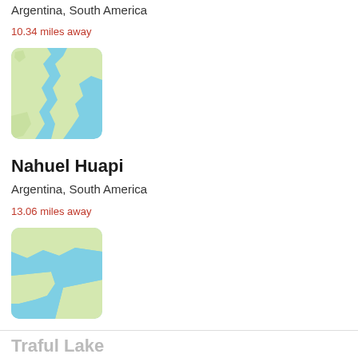Argentina, South America
10.34 miles away
[Figure (map): Map thumbnail showing a lake in Argentina with blue water and light green land terrain]
Nahuel Huapi
Argentina, South America
13.06 miles away
[Figure (map): Map thumbnail showing Nahuel Huapi lake area in Argentina with blue water channels and light green land]
Traful Lake